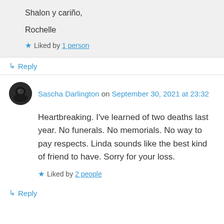Shalon y cariño,

Rochelle
Liked by 1 person
↳ Reply
Sascha Darlington on September 30, 2021 at 23:32
Heartbreaking. I've learned of two deaths last year. No funerals. No memorials. No way to pay respects. Linda sounds like the best kind of friend to have. Sorry for your loss.
Liked by 2 people
↳ Reply